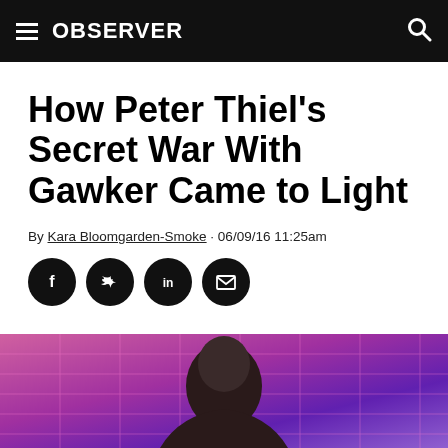OBSERVER
How Peter Thiel's Secret War With Gawker Came to Light
By Kara Bloomgarden-Smoke · 06/09/16 11:25am
[Figure (other): Social share buttons: Facebook, Twitter, LinkedIn, Email]
[Figure (photo): Photo of Peter Thiel with colorful purple/pink grid background]